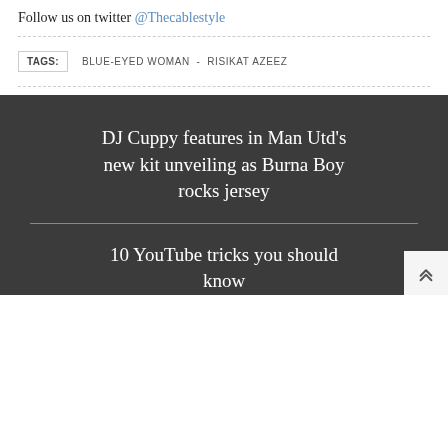Follow us on twitter @Thecablestyle
TAGS: BLUE-EYED WOMAN - RISIKAT AZEEZ
DJ Cuppy features in Man Utd's new kit unveiling as Burna Boy rocks jersey
10 YouTube tricks you should know